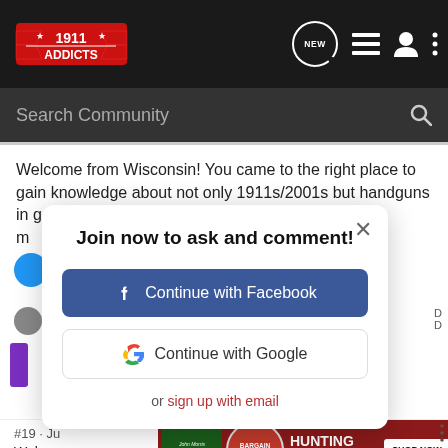1911 Addicts - navigation bar with NEW, list, user, and menu icons
Search Community
Welcome from Wisconsin! You came to the right place to gain knowledge about not only 1911s/2001s but handguns in general. Many of us...
Join now to ask and comment!
Continue with Facebook
Continue with Google
or sign up with email
#19 · Jul...
Welco...
[Figure (screenshot): Bass Pro Shops Hunting Clearance Bargain Cave advertisement banner with Shop Now button]